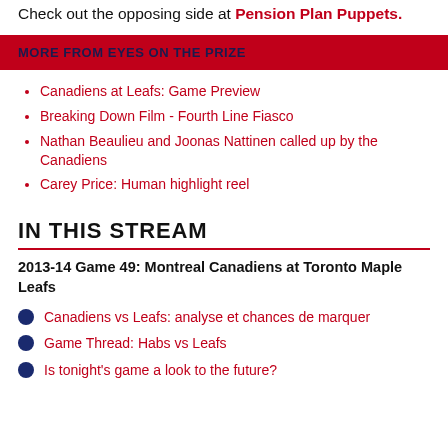Check out the opposing side at Pension Plan Puppets.
MORE FROM EYES ON THE PRIZE
Canadiens at Leafs: Game Preview
Breaking Down Film - Fourth Line Fiasco
Nathan Beaulieu and Joonas Nattinen called up by the Canadiens
Carey Price: Human highlight reel
IN THIS STREAM
2013-14 Game 49: Montreal Canadiens at Toronto Maple Leafs
Canadiens vs Leafs: analyse et chances de marquer
Game Thread: Habs vs Leafs
Is tonight's game a look to the future?